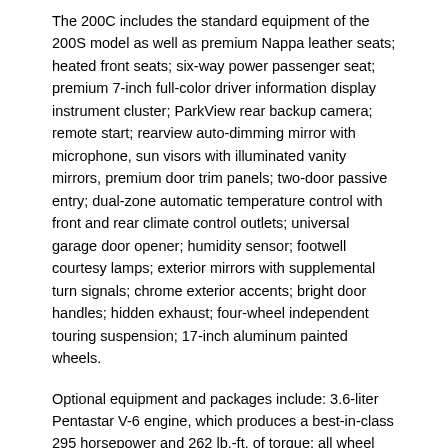The 200C includes the standard equipment of the 200S model as well as premium Nappa leather seats; heated front seats; six-way power passenger seat; premium 7-inch full-color driver information display instrument cluster; ParkView rear backup camera; remote start; rearview auto-dimming mirror with microphone, sun visors with illuminated vanity mirrors, premium door trim panels; two-door passive entry; dual-zone automatic temperature control with front and rear climate control outlets; universal garage door opener; humidity sensor; footwell courtesy lamps; exterior mirrors with supplemental turn signals; chrome exterior accents; bright door handles; hidden exhaust; four-wheel independent touring suspension; 17-inch aluminum painted wheels.
Optional equipment and packages include: 3.6-liter Pentastar V-6 engine, which produces a best-in-class 295 horsepower and 262 lb.-ft. of torque; all wheel drive; dual-pane panoramic sun roof; 19-inch aluminum wheels; SafetyTec Package; Premium Group; Navigation and Sound Group I and Premium Lighting Group.
Optional package content:
Comfort Group Limited Model includes air conditioning with